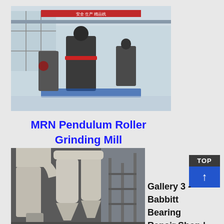[Figure (photo): Industrial grinding mill machines displayed in a large factory hall with red banners and overhead crane]
MRN Pendulum Roller Grinding Mill
[Figure (photo): Industrial dust collector and cyclone separator equipment in a factory setting]
Gallery 3 - Babbitt Bearing Repair Shop |